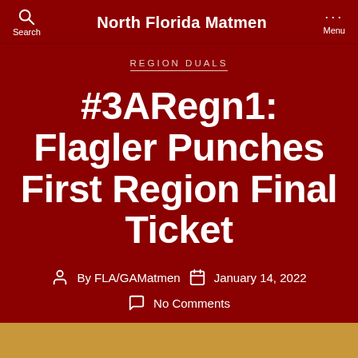North Florida Matmen
REGION DUALS
#3ARegn1: Flagler Punches First Region Final Ticket
By FLA/GAMatmen   January 14, 2022
No Comments